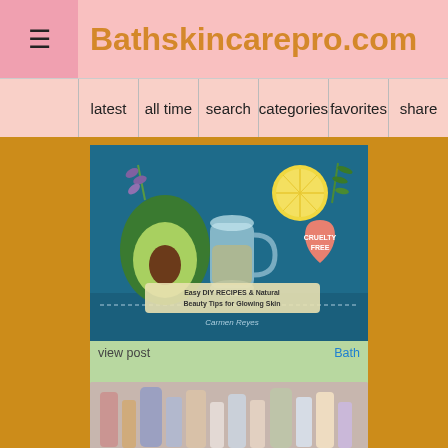Bathskincarepro.com
latest | all time | search | categories | favorites | share
[Figure (illustration): Book cover illustration on teal/blue background showing avocado, glass jug, lemon slice, herbs, 'Cruelty Free' heart badge, with text 'Easy DIY RECIPES & Natural Beauty Tips for Glowing Skin' by Carmen Reyes]
view post
Bath
♥ 0  👁 58
[Figure (photo): Partially visible photo of skincare/beauty products on shelves]